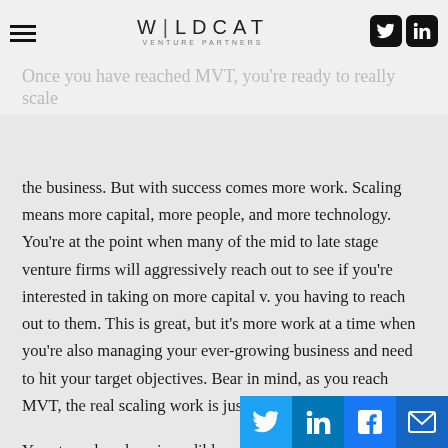WILDCAT VENTURE PARTNERS
month.
Once you have reached MVT, you're ready to really scale the business. But with success comes more work. Scaling means more capital, more people, and more technology. You're at the point when many of the mid to late stage venture firms will aggressively reach out to see if you're interested in taking on more capital v. you having to reach out to them. This is great, but it's more work at a time when you're also managing your ever-growing business and need to hit your target objectives. Bear in mind, as you reach MVT, the real scaling work is just beginning.
Your team has done incredible work, and you are in an exclusive club of survivors. But after MVT, if you want to match the growth rates of the most successful startups, your startup must prepare to triple the next year ($18M ending ARR), then double, year over year, for three years. This is typically the minimu